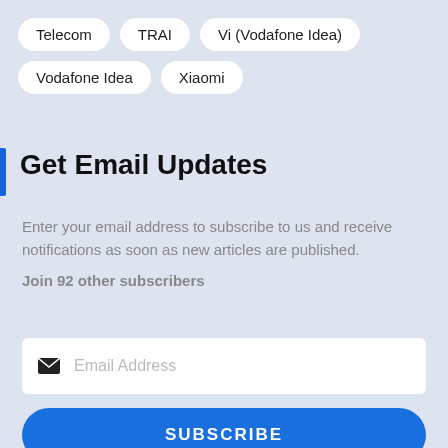Telecom
TRAI
Vi (Vodafone Idea)
Vodafone Idea
Xiaomi
Get Email Updates
Enter your email address to subscribe to us and receive notifications as soon as new articles are published.
Join 92 other subscribers
Email Address
SUBSCRIBE